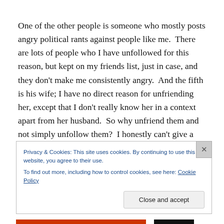One of the other people is someone who mostly posts angry political rants against people like me.  There are lots of people who I have unfollowed for this reason, but kept on my friends list, just in case, and they don't make me consistently angry.  And the fifth is his wife; I have no direct reason for unfriending her, except that I don't really know her in a context apart from her husband.  So why unfriend them and not simply unfollow them?  I honestly can't give a good answer for this.  I think part of it was just
Privacy & Cookies: This site uses cookies. By continuing to use this website, you agree to their use.
To find out more, including how to control cookies, see here: Cookie Policy
Close and accept